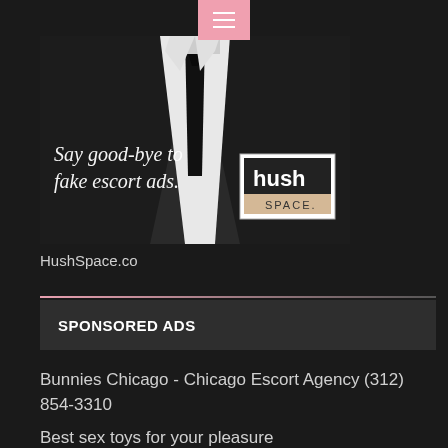[Figure (photo): Advertisement image showing a man in a black suit and tie with text 'Say good-bye to fake escort ads.' and a Hush Space logo]
HushSpace.co
SPONSORED ADS
Bunnies Chicago - Chicago Escort Agency (312) 854-3310
Best sex toys for your pleasure